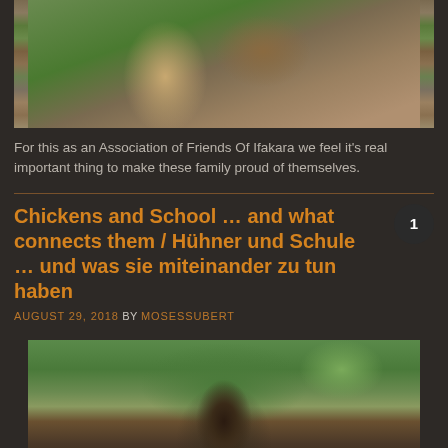[Figure (photo): Top portion of a photo showing a person standing in a green outdoor/bush area, wearing colorful clothing]
For this as an Association of Friends Of Ifakara we feel it's real important thing to make these family proud of themselves.
Chickens and School … and what connects them / Hühner und Schule … und was sie miteinander zu tun haben
AUGUST 29, 2018 BY MOSESSUBERT
[Figure (photo): Photo of a person carrying a large bundle of leaves or plant material on their head, standing outside near trees and a building]